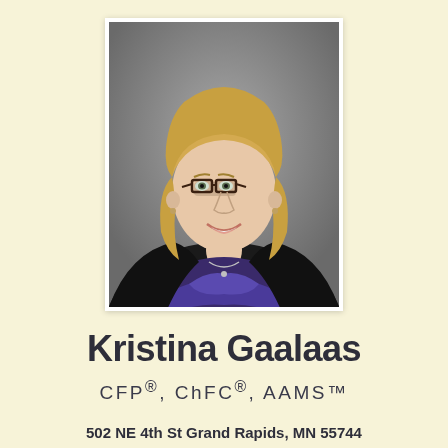[Figure (photo): Professional headshot of Kristina Gaalaas, a blonde woman with glasses wearing a black blazer over a blue patterned top, smiling, against a grey background.]
Kristina Gaalaas
CFP®, ChFC®, AAMS™
502 NE 4th St Grand Rapids, MN 55744